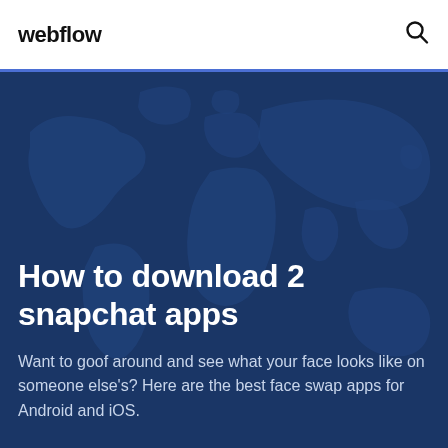webflow
How to download 2 snapchat apps
Want to goof around and see what your face looks like on someone else's? Here are the best face swap apps for Android and iOS.